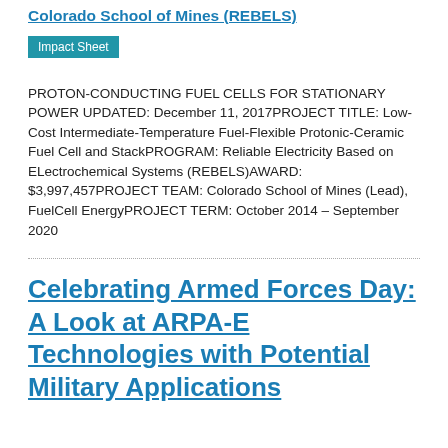Colorado School of Mines (REBELS)
Impact Sheet
PROTON-CONDUCTING FUEL CELLS FOR STATIONARY POWER UPDATED: December 11, 2017PROJECT TITLE: Low-Cost Intermediate-Temperature Fuel-Flexible Protonic-Ceramic Fuel Cell and StackPROGRAM: Reliable Electricity Based on ELectrochemical Systems (REBELS)AWARD: $3,997,457PROJECT TEAM: Colorado School of Mines (Lead), FuelCell EnergyPROJECT TERM: October 2014 – September 2020
Celebrating Armed Forces Day: A Look at ARPA-E Technologies with Potential Military Applications